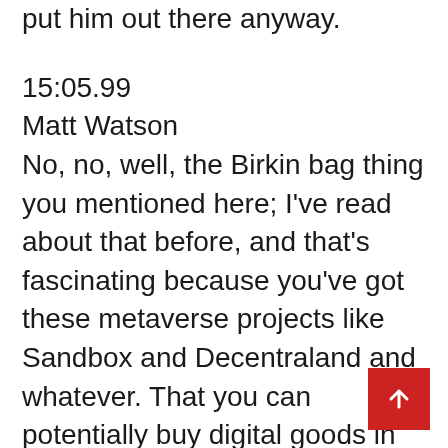put him out there anyway.
15:05.99
Matt Watson
No, no, well, the Birkin bag thing you mentioned here; I've read about that before, and that's fascinating because you've got these metaverse projects like Sandbox and Decentraland and whatever. That you can potentially buy digital goods in so, you get these crazy-ass people that want to buy like a fancy purse in the meverse, which I don't understand, but they do, and like